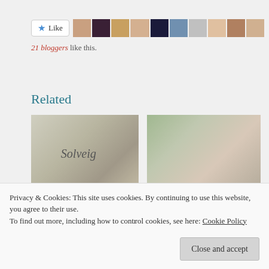[Figure (other): Like button with star icon and row of 10 blogger avatar thumbnails]
21 bloggers like this.
Related
[Figure (photo): Photo of a white ceramic mug with 'Solveig' written on it]
[Figure (photo): Photo of a person, blurred warm tones]
Weekend Coffee Share – 23 April
If we were having coffee – 7
Privacy & Cookies: This site uses cookies. By continuing to use this website, you agree to their use.
To find out more, including how to control cookies, see here: Cookie Policy
Close and accept